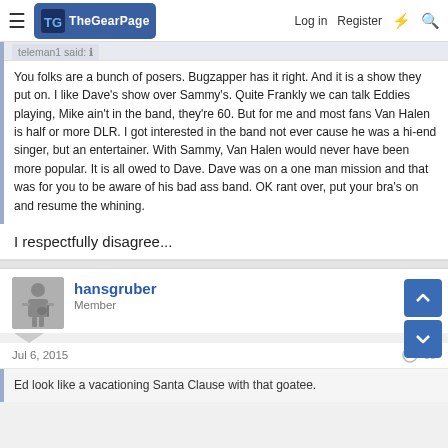The Gear Page — Log in   Register
teleman1 said:
You folks are a bunch of posers. Bugzapper has it right. And it is a show they put on. I like Dave's show over Sammy's. Quite Frankly we can talk Eddies playing, Mike ain't in the band, they're 60. But for me and most fans Van Halen is half or more DLR. I got interested in the band not ever cause he was a hi-end singer, but an entertainer. With Sammy, Van Halen would never have been more popular. It is all owed to Dave. Dave was on a one man mission and that was for you to be aware of his bad ass band. OK rant over, put your bra's on and resume the whining.
I respectfully disagree...
hansgruber
Member
Jul 6, 2015
Ed look like a vacationing Santa Clause with that goatee.